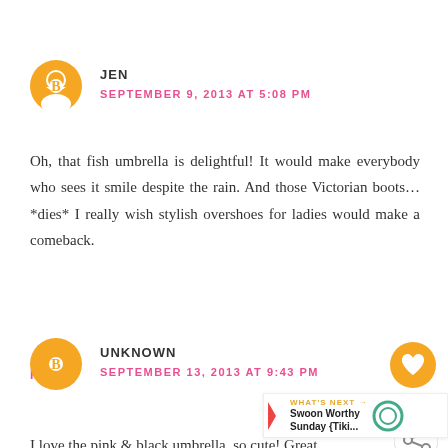[Figure (illustration): Orange circular blogger avatar icon for user JEN]
JEN
SEPTEMBER 9, 2013 AT 5:08 PM
Oh, that fish umbrella is delightful! It would make everybody who sees it smile despite the rain. And those Victorian boots…*dies* I really wish stylish overshoes for ladies would make a comeback.
REPLY
[Figure (illustration): Orange heart like button widget showing count of 1]
[Figure (illustration): Share button icon]
[Figure (illustration): Orange circular blogger avatar icon for user UNKNOWN]
UNKNOWN
SEPTEMBER 13, 2013 AT 9:43 PM
[Figure (illustration): What's Next banner showing Swoon Worthy Sunday {Tiki...]
I love the pink & black umbrella, so cute! Great